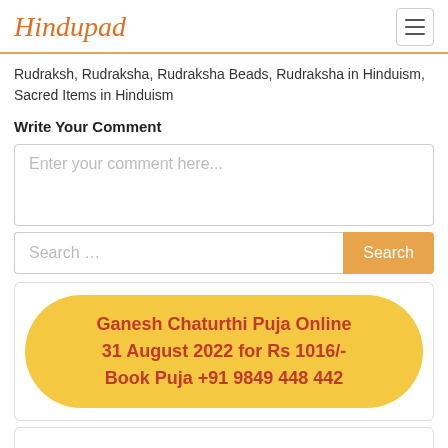Hindupad
Rudraksh, Rudraksha, Rudraksha Beads, Rudraksha in Hinduism, Sacred Items in Hinduism
Write Your Comment
Enter your comment here...
Search ...
[Figure (infographic): Orange pill-shaped promo banner with bold red text: Ganesh Chaturthi Puja Online 31 August 2022 for Rs 1016/- Book Puja +91 9849 448 442]